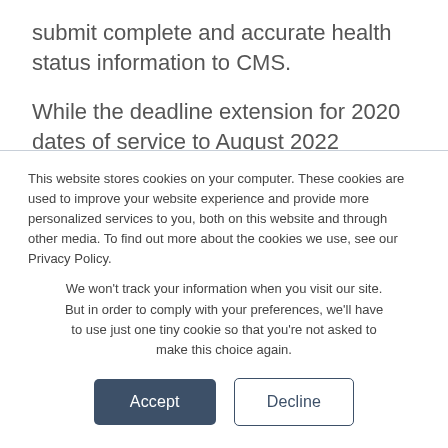submit complete and accurate health status information to CMS.
While the deadline extension for 2020 dates of service to August 2022 certainly provides some relief for health plans, typical risk adjustment strategies such as medical record retrieval often lead to provider abrasion. As the most recent COVID surge threatens to overwhelm healthcare facilities across the country, there is no such
This website stores cookies on your computer. These cookies are used to improve your website experience and provide more personalized services to you, both on this website and through other media. To find out more about the cookies we use, see our Privacy Policy.
We won't track your information when you visit our site. But in order to comply with your preferences, we'll have to use just one tiny cookie so that you're not asked to make this choice again.